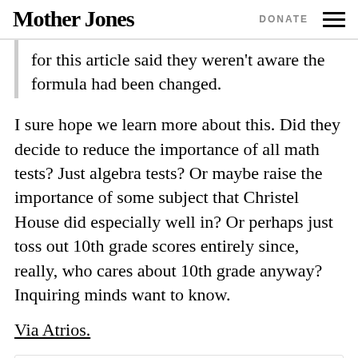Mother Jones | DONATE
for this article said they weren't aware the formula had been changed.
I sure hope we learn more about this. Did they decide to reduce the importance of all math tests? Just algebra tests? Or maybe raise the importance of some subject that Christel House did especially well in? Or perhaps just toss out 10th grade scores entirely since, really, who cares about 10th grade anyway? Inquiring minds want to know.
Via Atrios.
FACT: